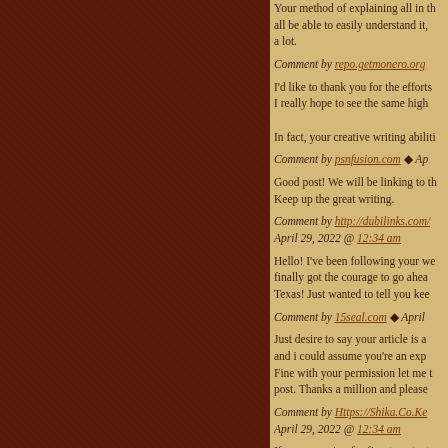Your method of explaining all in this article is really nice, you can all be able to easily understand it, Thanks a lot.
Comment by repo.getmonero.org
I'd like to thank you for the efforts you've put in writing this blog. I really hope to see the same high-grade content from you later on as well. In fact, your creative writing abilities
Comment by psnfusion.com ◆ Ap...
Good post! We will be linking to this particularly great article on our website. Keep up the great writing.
Comment by http://dubilinks.com/... April 29, 2022 @ 12:34 am
Hello! I've been following your website for a long time now and finally got the courage to go ahead and give you a shout out from Texas! Just wanted to tell you kee
Comment by 15seal.com ◆ April...
Just desire to say your article is as amazing. The clearness in your post is simply nice and i could assume you're an expert on this subject. Fine with your permission let me to grab your RSS feed to keep up to date with forthcoming post. Thanks a million and please
Comment by Https://Shika.Co.Ke... April 29, 2022 @ 12:34 am
If you are going for finest contents like I do, just pay a visit this web site everyday as it gives quality conter